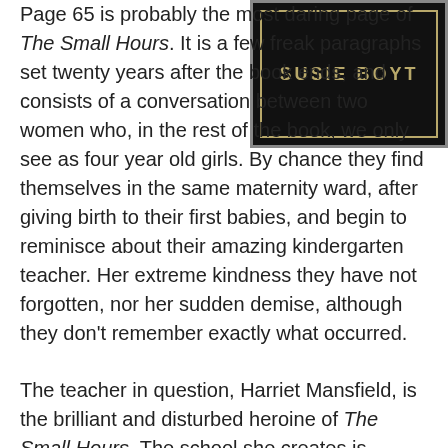[Figure (illustration): Book cover for 'Susie Boyt' — black background with gold border and gold text reading 'SUSIE BOYT']
Page 65 is probably the most daring page of The Small Hours. It is a few freak paragraphs set twenty years after the book ends, and consists of a conversation between two women who, in the rest of the book, we only see as four year old girls. By chance they find themselves in the same maternity ward, after giving birth to their first babies, and begin to reminisce about their amazing kindergarten teacher. Her extreme kindness they have not forgotten, nor her sudden demise, although they don't remember exactly what occurred.
The teacher in question, Harriet Mansfield, is the brilliant and disturbed heroine of The Small Hours. The school she creates is designed to be like a little Eden for her precious pupils, filled with the very best that life has to offer. There are chickens in the garden and a Shetland pony, there are picnics and a doll's hospital and a real